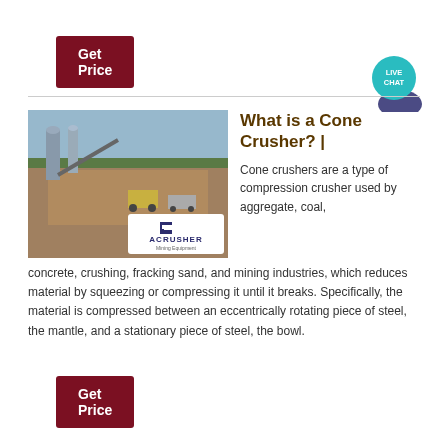Get Price
[Figure (photo): Industrial quarry/aggregate plant with heavy machinery, conveyor belts, silos, and trucks. ACRUSHER Mining Equipment logo overlay in lower right of image.]
What is a Cone Crusher? |
Cone crushers are a type of compression crusher used by aggregate, coal, concrete, crushing, fracking sand, and mining industries, which reduces material by squeezing or compressing it until it breaks. Specifically, the material is compressed between an eccentrically rotating piece of steel, the mantle, and a stationary piece of steel, the bowl.
Get Price